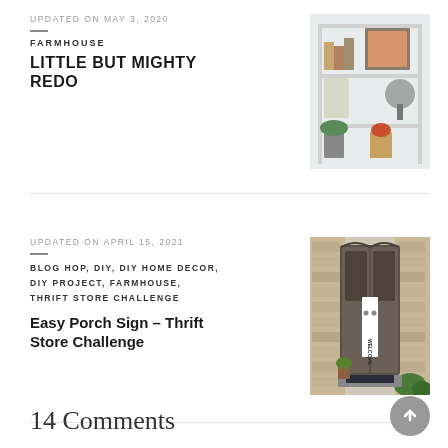UPDATED ON MAY 3, 2020
FARMHOUSE
LITTLE BUT MIGHTY REDO
[Figure (photo): Farmhouse-style white bookshelf with books, plants, and a vintage scale]
UPDATED ON APRIL 15, 2021
BLOG HOP,  DIY,  DIY HOME DECOR,  DIY PROJECT,  FARMHOUSE,  THRIFT STORE CHALLENGE
Easy Porch Sign – Thrift Store Challenge
[Figure (photo): Front porch with ornate double doors and a vertical WELCOME sign]
14 Comments